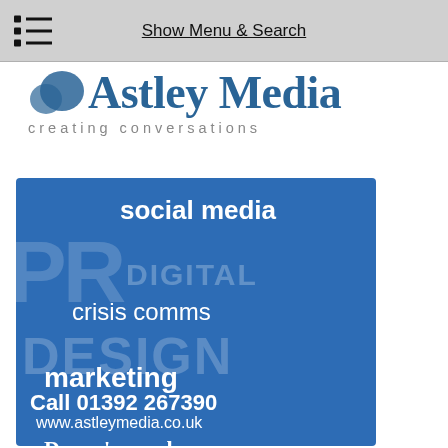Show Menu & Search
[Figure (logo): Astley Media logo with bird icon, text 'Astley Media' in blue serif font, tagline 'creating conversations' in grey spaced letters]
[Figure (infographic): Blue advertisement banner for Astley Media showing services: social media, PR, DIGITAL, crisis comms, DESIGN, marketing. Contact: Call 01392 267390, www.astleymedia.co.uk, Devon's number]